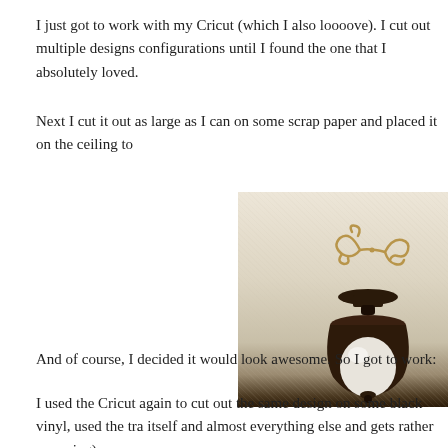I just got to work with my Cricut (which I also loooove). I cut out multiple designs configurations until I found the one that I absolutely loved.
Next I cut it out as large as I can on some scrap paper and placed it on the ceiling to
[Figure (photo): A ceiling photo showing a decorative swirl design and a dark bronze ceiling light fixture with a frosted glass globe shade.]
And of course, I decided it would look awesome. So I got to work:
I used the Cricut again to cut out the same design on some black vinyl, used the tra itself and almost everything else and gets rather annoying):